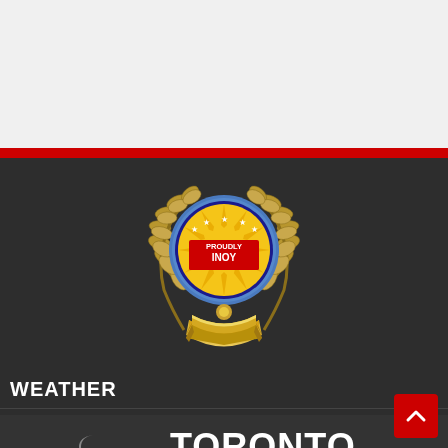[Figure (logo): Proudly Inoy badge/seal logo with golden laurel wreath, circular emblem with sun rays, stars, and red/blue shield with text PROUDLY INOY, gold ribbon at bottom]
WEATHER
TORONTO
Clear Sky
humidity: 80%
wind: 8mph NW
H 65 • L 60